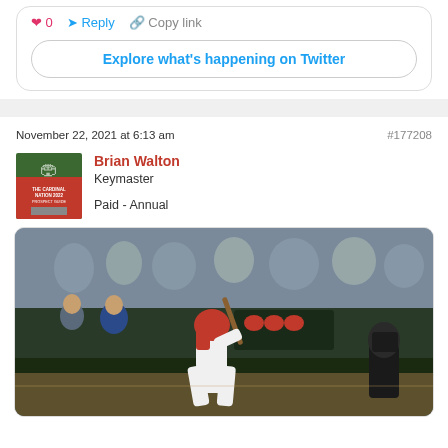[Figure (screenshot): Twitter embed top bar with heart icon, Reply button, Copy link button]
Explore what's happening on Twitter
November 22, 2021 at 6:13 am
#177208
[Figure (photo): Avatar image showing The Cardinal Nation 2022 Prospect Guide cover]
Brian Walton
Keymaster
Paid - Annual
[Figure (photo): Baseball player in red Cardinals uniform batting at home plate, catcher visible on right, dugout and crowd in background]